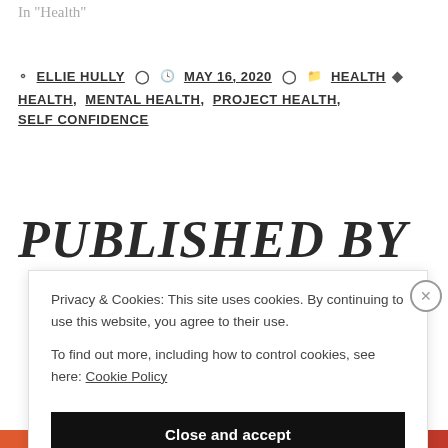In "Health"
ELLIE HULLY  MAY 16, 2020  HEALTH  HEALTH, MENTAL HEALTH, PROJECT HEALTH, SELF CONFIDENCE
PUBLISHED BY
Privacy & Cookies: This site uses cookies. By continuing to use this website, you agree to their use. To find out more, including how to control cookies, see here: Cookie Policy
Close and accept